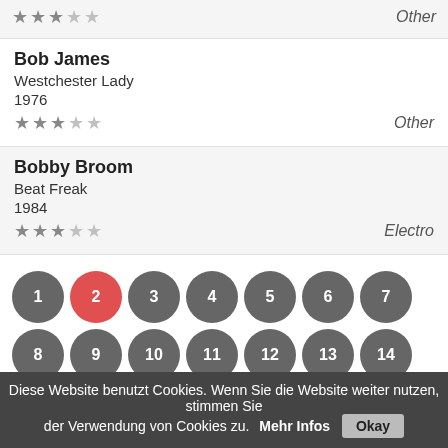Other (top strip with 3-star rating)
Bob James | Westchester Lady | 1976 | ★★★☆☆ | Other
Bobby Broom | Beat Freak | 1984 | ★★★☆☆ | Electro
[Figure (other): Pagination circles numbered 1–26, with circle 2 highlighted in red]
Diese Website benutzt Cookies. Wenn Sie die Website weiter nutzen, stimmen Sie der Verwendung von Cookies zu. Mehr Infos Okay